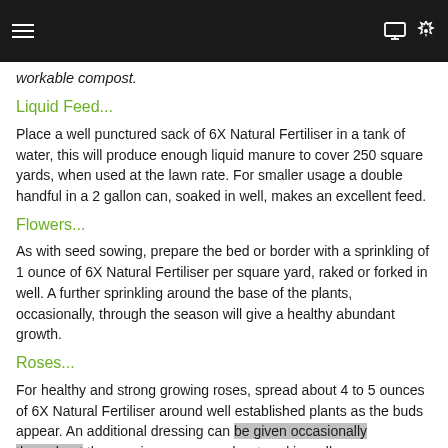Navigation bar with menu, monitor, and settings icons
workable compost.
Liquid Feed...
Place a well punctured sack of 6X Natural Fertiliser in a tank of water, this will produce enough liquid manure to cover 250 square yards, when used at the lawn rate. For smaller usage a double handful in a 2 gallon can, soaked in well, makes an excellent feed.
Flowers...
As with seed sowing, prepare the bed or border with a sprinkling of 1 ounce of 6X Natural Fertiliser per square yard, raked or forked in well. A further sprinkling around the base of the plants, occasionally, through the season will give a healthy abundant growth.
Roses...
For healthy and strong growing roses, spread about 4 to 5 ounces of 6X Natural Fertiliser around well established plants as the buds appear. An additional dressing can be given occasionally throughout the growing season and watered in well.